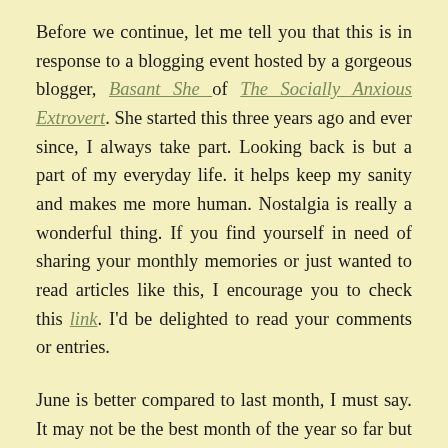Before we continue, let me tell you that this is in response to a blogging event hosted by a gorgeous blogger, Basant She of The Socially Anxious Extrovert. She started this three years ago and ever since, I always take part. Looking back is but a part of my everyday life. it helps keep my sanity and makes me more human. Nostalgia is really a wonderful thing. If you find yourself in need of sharing your monthly memories or just wanted to read articles like this, I encourage you to check this link. I'd be delighted to read your comments or entries.
June is better compared to last month, I must say. It may not be the best month of the year so far but at least things are starting to fall into place. I know I still fall short when it comes to my blog but I have never been this optimistic. I realized that I don't need to wait for a good mood to write. sometimes. I also need to tell